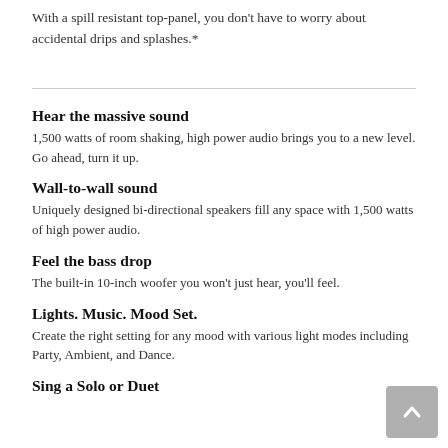With a spill resistant top-panel, you don't have to worry about accidental drips and splashes.*
Hear the massive sound
1,500 watts of room shaking, high power audio brings you to a new level. Go ahead, turn it up.
Wall-to-wall sound
Uniquely designed bi-directional speakers fill any space with 1,500 watts of high power audio.
Feel the bass drop
The built-in 10-inch woofer you won't just hear, you'll feel.
Lights. Music. Mood Set.
Create the right setting for any mood with various light modes including Party, Ambient, and Dance.
Sing a Solo or Duet